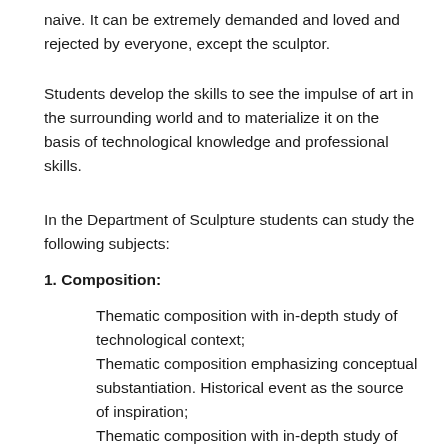naive. It can be extremely demanded and loved and rejected by everyone, except the sculptor.
Students develop the skills to see the impulse of art in the surrounding world and to materialize it on the basis of technological knowledge and professional skills.
In the Department of Sculpture students can study the following subjects:
1. Composition:
Thematic composition with in-depth study of technological context;
Thematic composition emphasizing conceptual substantiation. Historical event as the source of inspiration;
Thematic composition with in-depth study of